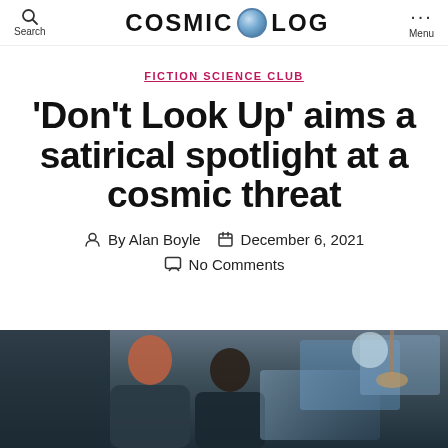COSMIC LOG
FICTION SCIENCE CLUB
'Don't Look Up' aims a satirical spotlight at a cosmic threat
By Alan Boyle  December 6, 2021  No Comments
[Figure (photo): Two people (one with red hair) viewed from behind/side, working at computer screens in a dimly lit room, still from 'Don't Look Up']